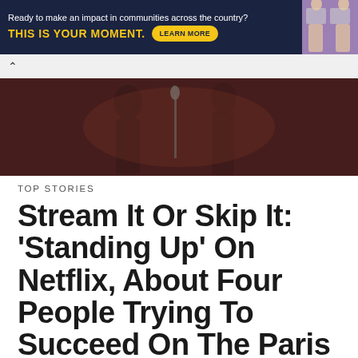[Figure (other): Advertisement banner with dark navy background. Text reads 'Ready to make an impact in communities across the country?' and 'THIS IS YOUR MOMENT.' with a yellow 'LEARN MORE' button. Right side shows a photo of people at computers.]
[Figure (photo): Article header photo showing silhouettes of people on a dimly lit stage, likely a comedy club setting with dark red/maroon background.]
TOP STORIES
Stream It Or Skip It: ‘Standing Up’ On Netflix, About Four People Trying To Succeed On The Paris Stand-Up Comedy Scene